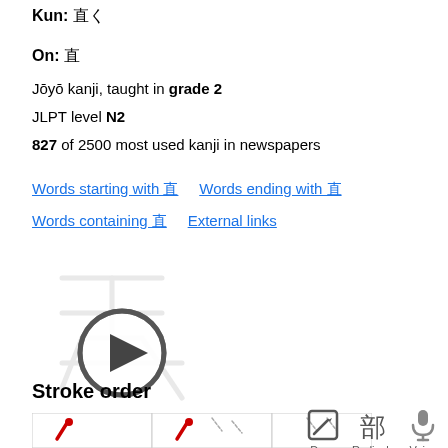Kun: 直
On: 直
Jōyō kanji, taught in grade 2
JLPT level N2
827 of 2500 most used kanji in newspapers
Words starting with 直   Words ending with 直
Words containing 直   External links
[Figure (illustration): Animated kanji stroke order video thumbnail with play button overlay]
Stroke order
[Figure (illustration): Stroke order diagrams showing progressive steps of writing the kanji]
[Figure (infographic): Bottom navigation icons: Draw (pencil icon), Radicals (kanji 部 icon), Voice (microphone icon)]